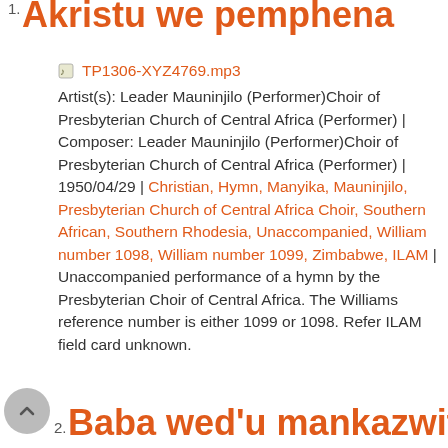1. Akristu we pemphena
TP1306-XYZ4769.mp3
Artist(s): Leader Mauninjilo (Performer)Choir of Presbyterian Church of Central Africa (Performer) | Composer: Leader Mauninjilo (Performer)Choir of Presbyterian Church of Central Africa (Performer) | 1950/04/29 | Christian, Hymn, Manyika, Mauninjilo, Presbyterian Church of Central Africa Choir, Southern African, Southern Rhodesia, Unaccompanied, William number 1098, William number 1099, Zimbabwe, ILAM | Unaccompanied performance of a hymn by the Presbyterian Choir of Central Africa. The Williams reference number is either 1099 or 1098. Refer ILAM field card unknown.
2. Baba wed'u mankazwita